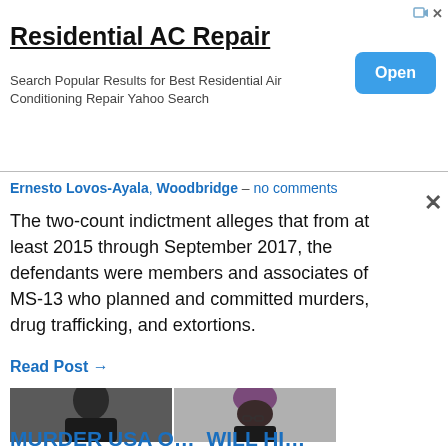[Figure (screenshot): Online advertisement banner for Residential AC Repair with an 'Open' button]
Ernesto Lovos-Ayala, Woodbridge – no comments
The two-count indictment alleges that from at least 2015 through September 2017, the defendants were members and associates of MS-13 who planned and committed murders, drug trafficking, and extortions.
Read Post →
[Figure (photo): Two mugshot photos side by side: a young man on the left and a woman wearing glasses and a purple head wrap on the right]
MURDER USA O... Will Hi...